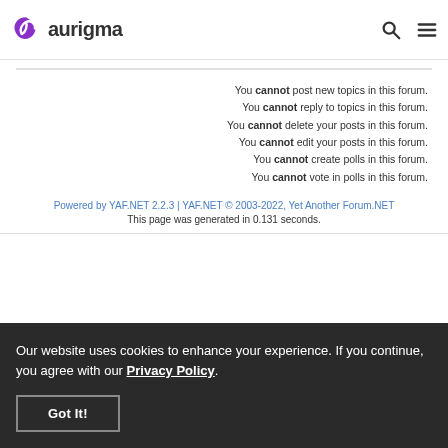aurigma
You cannot post new topics in this forum.
You cannot reply to topics in this forum.
You cannot delete your posts in this forum.
You cannot edit your posts in this forum.
You cannot create polls in this forum.
You cannot vote in polls in this forum.
Powered by YAF.NET 2.2.3 | YAF.NET © 2003-2022, Yet Another Forum.NET
This page was generated in 0.131 seconds.
Our website uses cookies to enhance your experience. If you continue, you agree with our Privacy Policy.
Got It!